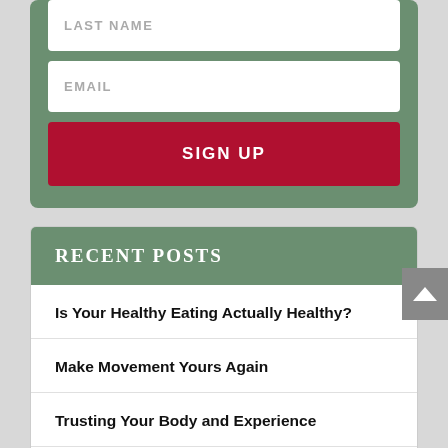LAST NAME
EMAIL
SIGN UP
RECENT POSTS
Is Your Healthy Eating Actually Healthy?
Make Movement Yours Again
Trusting Your Body and Experience
Body Acceptance Instead of Shame and Blame